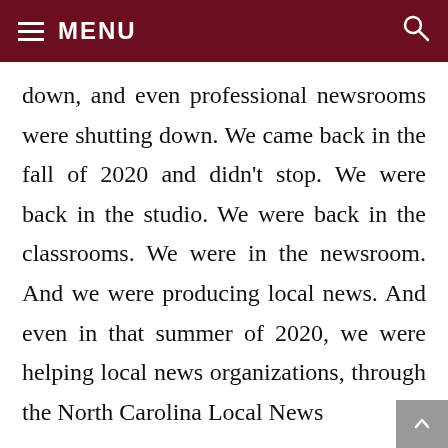≡ MENU
down, and even professional newsrooms were shutting down. We came back in the fall of 2020 and didn't stop. We were back in the studio. We were back in the classrooms. We were in the newsroom. And we were producing local news. And even in that summer of 2020, we were helping local news organizations, through the North Carolina Local News